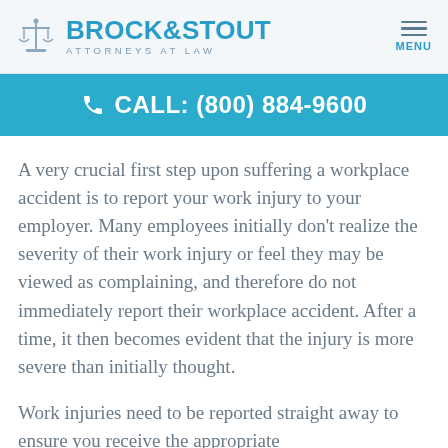BROCK & STOUT ATTORNEYS AT LAW
CALL: (800) 884-9600
A very crucial first step upon suffering a workplace accident is to report your work injury to your employer. Many employees initially don't realize the severity of their work injury or feel they may be viewed as complaining, and therefore do not immediately report their workplace accident. After a time, it then becomes evident that the injury is more severe than initially thought.
Work injuries need to be reported straight away to ensure you receive the appropriate